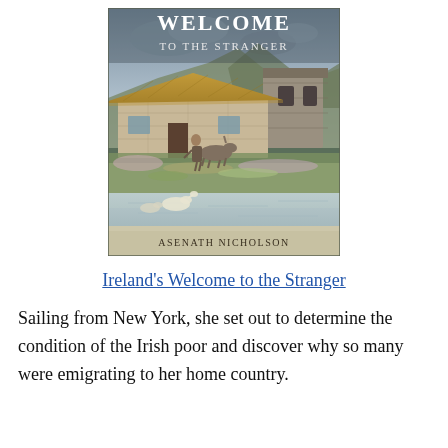[Figure (illustration): Book cover of 'Ireland's Welcome to the Stranger' by Asenath Nicholson. Shows a painted scene of a thatched Irish cottage by a coastal shore with figures and animals. Text at top reads 'WELCOME TO THE STRANGER' and at bottom 'ASENATH NICHOLSON'.]
Ireland's Welcome to the Stranger
Sailing from New York, she set out to determine the condition of the Irish poor and discover why so many were emigrating to her home country.